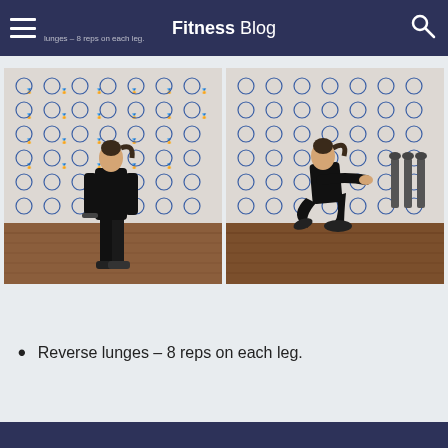Fitness Blog
lunges – 8 reps on each leg.
[Figure (photo): Woman in black athletic wear standing upright in a gym with a branded backdrop behind her]
[Figure (photo): Woman in black athletic wear performing a reverse lunge with arms extended forward in a gym with a branded backdrop]
Reverse lunges – 8 reps on each leg.